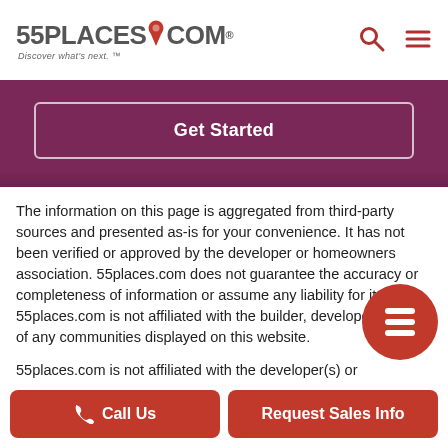[Figure (logo): 55places.com logo with red pin icon and tagline 'Discover what's next.']
[Figure (infographic): Purple/maroon CTA banner with 'Get Started' button outlined in white]
The information on this page is aggregated from third-party sources and presented as-is for your convenience. It has not been verified or approved by the developer or homeowners association. 55places.com does not guarantee the accuracy or completeness of information or assume any liability for its use. 55places.com is not affiliated with the builder, developer, or HOA of any communities displayed on this website.
55places.com is not affiliated with the developer(s) or homeowners association of Nolan's Ridge. The information you submit is distributed to a 55places.com Partner Agent, who is a licensed real estate agent. The information regarding Nolan's Ridge has been verified or approved by...
[Figure (other): Red circular floating button with stacked layers icon]
Call Us
Request Sales Info